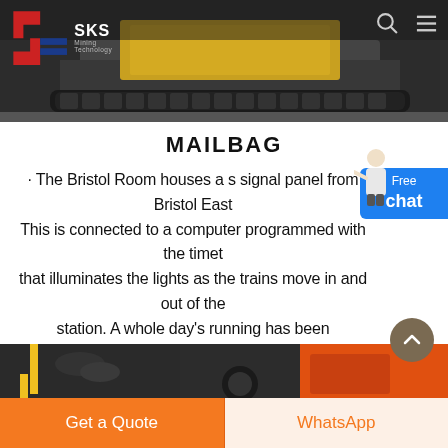[Figure (photo): Top hero image showing a yellow/black heavy mining machine (tracked vehicle) in a dark industrial setting with SKS Mining Technology logo overlay and navigation icons]
MAILBAG
· The Bristol Room houses a s signal panel from Bristol East This is connected to a computer programmed with the timet that illuminates the lights as the trains move in and out of the station. A whole day's running has been compressed into one hour so things happen more quickly.
[Figure (photo): Bottom photo strip showing close-up of mining/industrial equipment parts, with orange and dark metallic components]
Get a Quote
WhatsApp